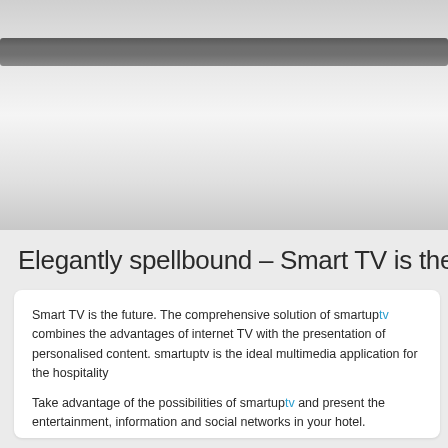[Figure (photo): Top portion showing a decorative device/remote control image with a dark grey bar and light grey gradient background, representing a Smart TV interface screenshot]
Elegantly spellbound – Smart TV is the
Smart TV is the future. The comprehensive solution of smartuptv combines the advantages of internet TV with the presentation of personalised content. smartuptv is the ideal multimedia application for the hospitality
Take advantage of the possibilities of smartuptv and present the entertainment, information and social networks in your hotel.